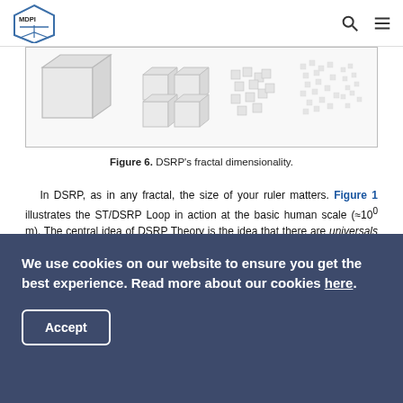MDPI
[Figure (illustration): DSRP fractal dimensionality showing cubes at different scales from large single cube to many small cubes scattered]
Figure 6. DSRP's fractal dimensionality.
In DSRP, as in any fractal, the size of your ruler matters. Figure 1 illustrates the ST/DSRP Loop in action at the basic human scale (≈10^0 m). The central idea of DSRP Theory is the idea that there are universals of organization both in mind and in nature—an idea supported by empirical evidence. Because DSRP is a fractal, structural predictions can be made at any level of scale across micro and macro states in individual and
We use cookies on our website to ensure you get the best experience. Read more about our cookies here. Accept